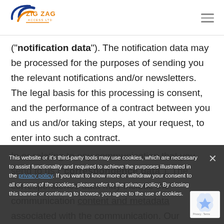[Figure (logo): Zig Zag Access Ltd logo with orange and blue arc design and text]
("notification data"). The notification data may be processed for the purposes of sending you the relevant notifications and/or newsletters. The legal basis for this processing is consent, and the performance of a contract between you and us and/or taking steps, at your request, to enter into such a contract.
This website or it's third-party tools may use cookies, which are necessary to assist functionality and required to achieve the purposes illustrated in the privacy policy. If you want to know more or withdraw your consent to all or some of the cookies, please refer to the privacy policy. By closing this banner or continuing to browse, you agree to the use of cookies.
In or relating to any communication that you send to us ("correspondence data"). The correspondence data may include the communication content and metadata associated with the communication. Our